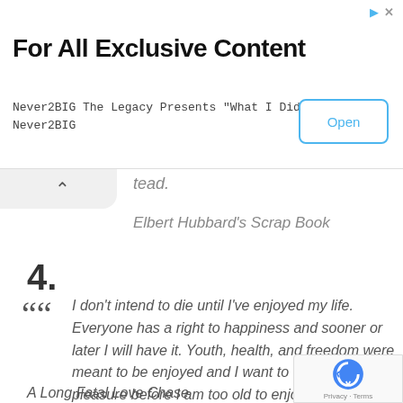[Figure (screenshot): Advertisement banner: 'For All Exclusive Content' with Open button. Never2BIG The Legacy Presents 'What I Did' Never2BIG]
tead.
Elbert Hubbard's Scrap Book
4.
I don't intend to die until I've enjoyed my life. Everyone has a right to happiness and sooner or later I will have it. Youth, health, and freedom were meant to be enjoyed and I want to try every pleasure before I am too old to enjoy them.
A Long Fatal Love Chase